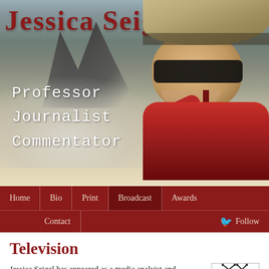[Figure (photo): Hero banner with mountain background photo. Jessica Seigel smiling, wearing a wide-brim hat, sunglasses, and red jacket. She is pointing toward rocky mountain scenery.]
Jessica Seigel
Professor
Journalist
Commentator
Home | Bio | Print | Broadcast | Awards | Contact | Follow
Television
Jessica Seigel has appeared as a media analyist and commentator on the
[Figure (illustration): Black and white retro television set icon/illustration]